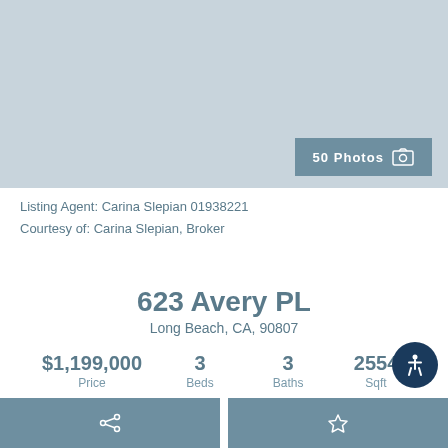[Figure (photo): Property photo area placeholder showing exterior of home]
50 Photos
Listing Agent: Carina Slepian 01938221
Courtesy of: Carina Slepian, Broker
623 Avery PL
Long Beach, CA, 90807
$1,199,000 Price   3 Beds   3 Baths   2554 Sqft